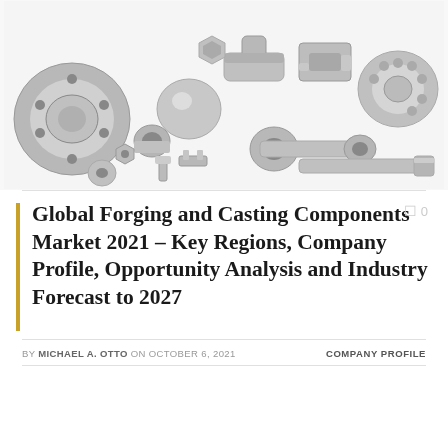[Figure (photo): Collection of various metal forging and casting components including flanges, rings, nuts, bolts, connecting rods, brackets, and other industrial metal parts arranged on a white background]
Global Forging and Casting Components Market 2021 – Key Regions, Company Profile, Opportunity Analysis and Industry Forecast to 2027
BY MICHAEL A. OTTO ON OCTOBER 6, 2021    COMPANY PROFILE